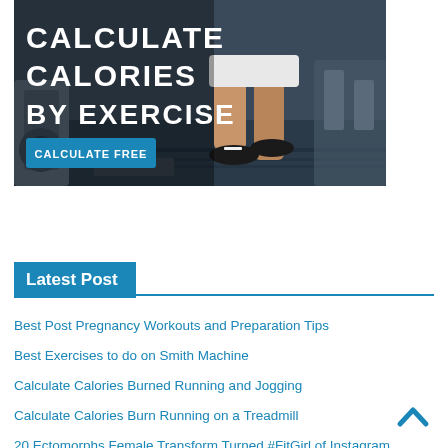[Figure (photo): Advertisement banner showing a person running on a treadmill in a gym. Large white bold text reads 'CALCULATE CALORIES BY EXERCISE' with a blue 'CALCULATE FREE' button below.]
Latest Post
Best Post Pregnancy Workouts and Preparation Tips
Best Exercises to do on Smith Machine
Calculate Calories Burned Running and Jogging
Calculate Calories Burn Running on a Treadmill
20 Ectomorphs Female Transform Turned #FitGirl of Instagram